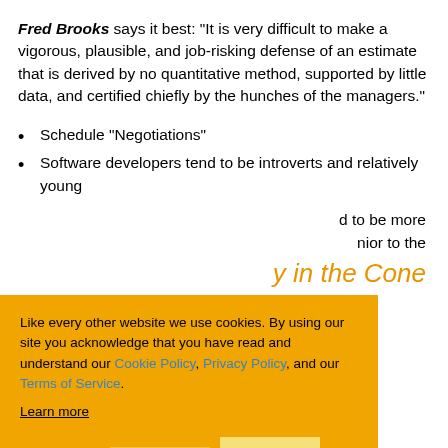Fred Brooks says it best: “It is very difficult to make a vigorous, plausible, and job-risking defense of an estimate that is derived by no quantitative method, supported by little data, and certified chiefly by the hunches of the managers.”
Schedule “Negotiations”
Software developers tend to be introverts and relatively young
d to be more nior to the
y in the Cone
Like every other website we use cookies. By using our site you acknowledge that you have read and understand our Cookie Policy, Privacy Policy, and our Terms of Service. Learn more
Ask me later | Decline | Allow cookies